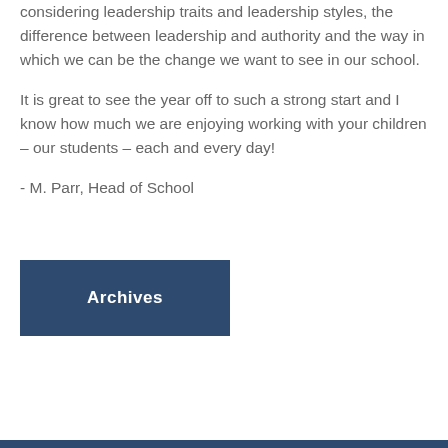considering leadership traits and leadership styles, the difference between leadership and authority and the way in which we can be the change we want to see in our school.
It is great to see the year off to such a strong start and I know how much we are enjoying working with your children – our students – each and every day!
- M. Parr, Head of School
Archives